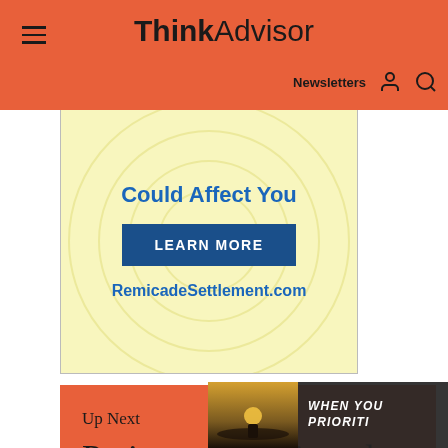ThinkAdvisor — Newsletters
[Figure (other): Advertisement banner for RemicadeSettlement.com with text 'Could Affect You', a 'LEARN MORE' button, and the URL RemicadeSettlement.com on a light yellow background]
Up Next
Patient who skipped mortgage regains $13,000/month drug